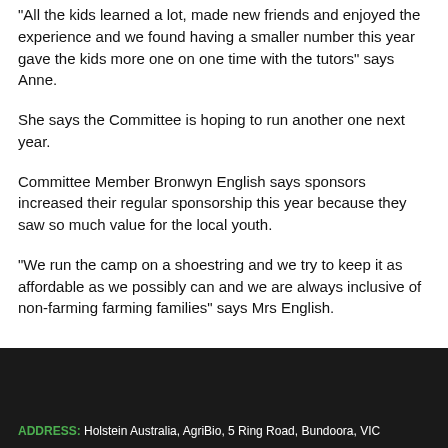“All the kids learned a lot, made new friends and enjoyed the experience and we found having a smaller number this year gave the kids more one on one time with the tutors” says Anne.
She says the Committee is hoping to run another one next year.
Committee Member Bronwyn English says sponsors increased their regular sponsorship this year because they saw so much value for the local youth.
“We run the camp on a shoestring and we try to keep it as affordable as we possibly can and we are always inclusive of non-farming farming families” says Mrs English.
ADDRESS: Holstein Australia, AgriBio, 5 Ring Road, Bundoora, VIC